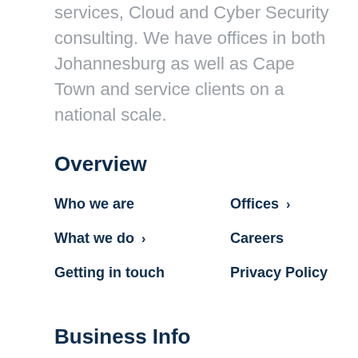services, Cloud and Cyber Security consulting. We have offices in both Johannesburg as well as Cape Town and service clients on a national scale.
Overview
Who we are
Offices >
What we do >
Careers
Getting in touch
Privacy Policy
Business Info